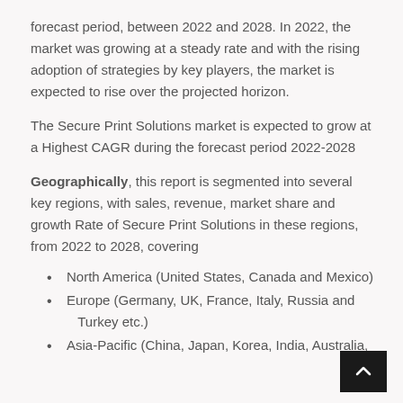forecast period, between 2022 and 2028. In 2022, the market was growing at a steady rate and with the rising adoption of strategies by key players, the market is expected to rise over the projected horizon.
The Secure Print Solutions market is expected to grow at a Highest CAGR during the forecast period 2022-2028
Geographically, this report is segmented into several key regions, with sales, revenue, market share and growth Rate of Secure Print Solutions in these regions, from 2022 to 2028, covering
North America (United States, Canada and Mexico)
Europe (Germany, UK, France, Italy, Russia and Turkey etc.)
Asia-Pacific (China, Japan, Korea, India, Australia,